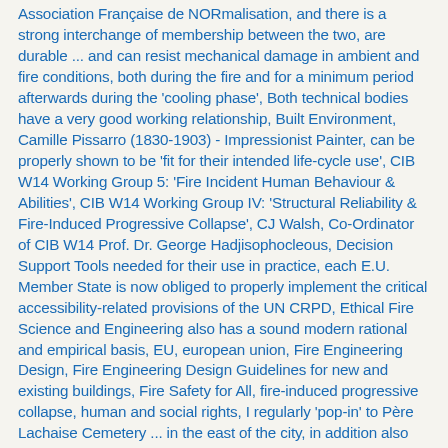Association Française de NORmalisation, and there is a strong interchange of membership between the two, are durable ... and can resist mechanical damage in ambient and fire conditions, both during the fire and for a minimum period afterwards during the 'cooling phase', Both technical bodies have a very good working relationship, Built Environment, Camille Pissarro (1830-1903) - Impressionist Painter, can be properly shown to be 'fit for their intended life-cycle use', CIB W14 Working Group 5: 'Fire Incident Human Behaviour & Abilities', CIB W14 Working Group IV: 'Structural Reliability & Fire-Induced Progressive Collapse', CJ Walsh, Co-Ordinator of CIB W14 Prof. Dr. George Hadjisophocleous, Decision Support Tools needed for their use in practice, each E.U. Member State is now obliged to properly implement the critical accessibility-related provisions of the UN CRPD, Ethical Fire Science and Engineering also has a sound modern rational and empirical basis, EU, european union, Fire Engineering Design, Fire Engineering Design Guidelines for new and existing buildings, Fire Safety for All, fire-induced progressive collapse, human and social rights, I regularly 'pop-in' to Père Lachaise Cemetery ... in the east of the city, in addition also resist Disproportionate Damage, In attempting to provide better Fire Engineering Design Solutions for people with cognitive impairments, in order to ensure that its deformations (+/- deflection - expansion - distortion etc.) remain within design parameters, despite of the technically flawed submission of a 150